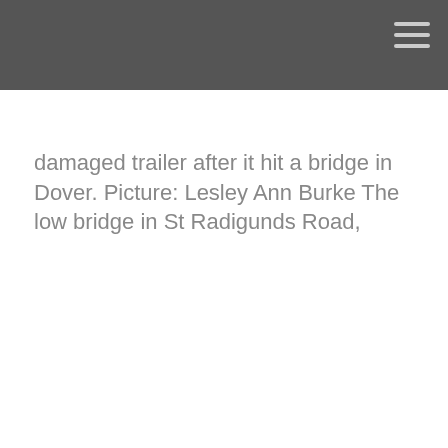damaged trailer after it hit a bridge in Dover. Picture: Lesley Ann Burke The low bridge in St Radigunds Road,